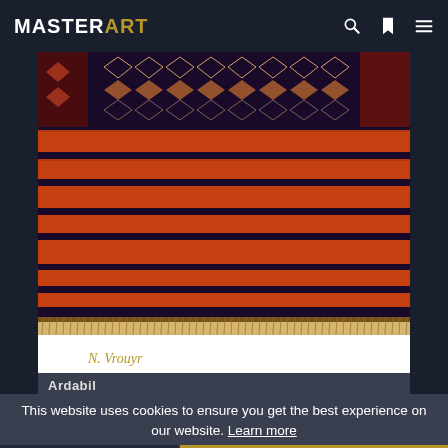MASTERART
[Figure (photo): A traditional Ardabil rug/kilim with alternating orange and dark navy/black horizontal stripes, with a decorative geometric patterned border at the top. The piece has fringe at the bottom. Signed 'N. Vrouyr' in italic script in the lower left of the white mat.]
N. Vrouyr
Ardabil
This website uses cookies to ensure you get the best experience on our website. Learn more
Decline
I ACCEPT